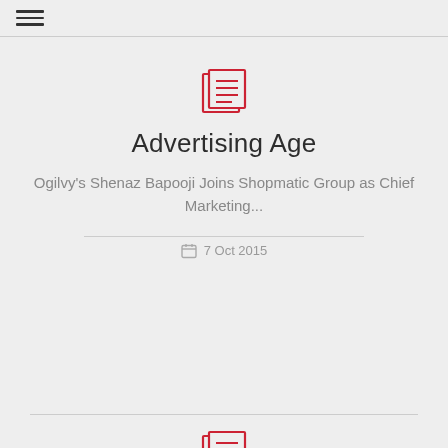[Figure (illustration): Newspaper/article icon with red border and horizontal lines]
Advertising Age
Ogilvy's Shenaz Bapooji Joins Shopmatic Group as Chief Marketing...
7 Oct 2015
[Figure (illustration): Newspaper/article icon with red border and horizontal lines]
Crazy Engineers